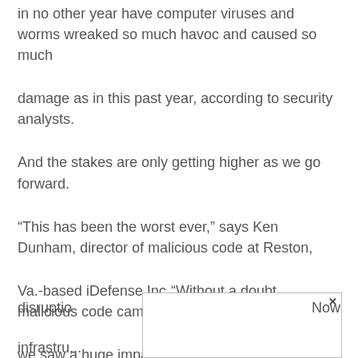in no other year have computer viruses and worms wreaked so much havoc and caused so much
damage as in this past year, according to security analysts.
And the stakes are only getting higher as we go forward.
“This has been the worst ever,” says Ken Dunham, director of malicious code at Reston,
Va.-based iDefense Inc. “Without a doubt, malicious code came to a massive head in 2003...
we saw a huge impact of malicious code on infrastructure. We had seen worms cause some
disruptio   Now
infrastru...